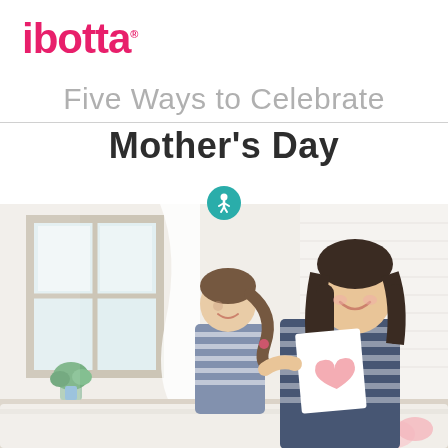[Figure (logo): ibotta logo in pink/magenta color with trademark symbol]
Five Ways to Celebrate
Mother's Day
[Figure (photo): A smiling mother and daughter sharing a handmade Mother's Day card with a pink heart drawing. The girl has a ponytail and they are both laughing. Indoor bedroom/home setting with white brick wall and window in background. A small teal circular icon with a person figure overlays the top of the photo.]